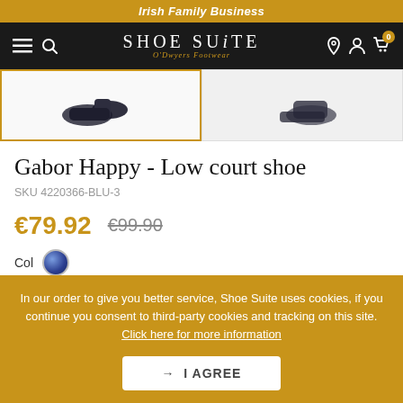Irish Family Business
[Figure (screenshot): Shoe Suite O'Dwyers Footwear navigation bar with hamburger menu, search icon, logo, location pin, account, and cart (0) icons on black background]
[Figure (photo): Two shoe product images side by side, left selected with gold border, right unselected]
Gabor Happy - Low court shoe
SKU 4220366-BLU-3
€79.92  €99.90
Color (blue swatch shown)
In our order to give you better service, Shoe Suite uses cookies, if you continue you consent to third-party cookies and tracking on this site. Click here for more information
→ I AGREE